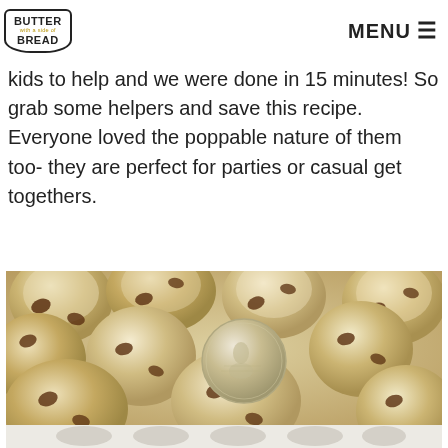BUTTER with a side of BREAD | MENU
kids to help and we were done in 15 minutes! So grab some helpers and save this recipe. Everyone loved the poppable nature of them too- they are perfect for parties or casual get togethers.
[Figure (photo): Close-up photo of small chocolate chip cookies piled together with a quarter coin placed among them for size reference. Below the main photo are navigation dots/thumbnails.]